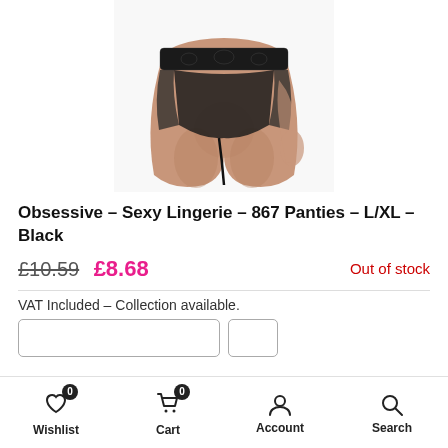[Figure (photo): Back view of a model wearing black lace panties/thong, cropped at waist and upper thighs, shown on white background]
Obsessive - Sexy Lingerie - 867 Panties - L/XL - Black
£10.59  £8.68   Out of stock
VAT Included - Collection available.
Wishlist  Cart  Account  Search